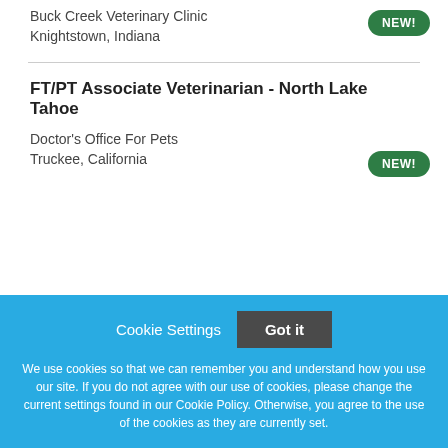Buck Creek Veterinary Clinic
Knightstown, Indiana
NEW!
FT/PT Associate Veterinarian - North Lake Tahoe
Doctor's Office For Pets
Truckee, California
NEW!
Cookie Settings
Got it
We use cookies so that we can remember you and understand how you use our site. If you do not agree with our use of cookies, please change the current settings found in our Cookie Policy. Otherwise, you agree to the use of the cookies as they are currently set.